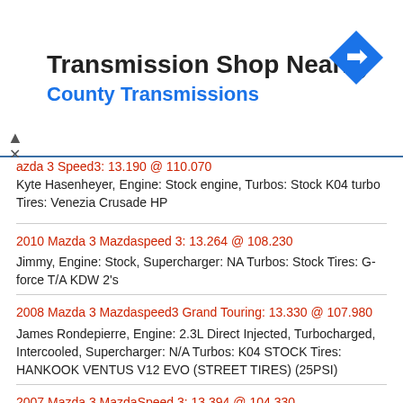Transmission Shop Nearby
County Transmissions
azda 3 Speed3: 13.190 @ 110.070
Kyte Hasenheyer, Engine: Stock engine, Turbos: Stock K04 turbo Tires: Venezia Crusade HP
2010 Mazda 3 Mazdaspeed 3: 13.264 @ 108.230
Jimmy, Engine: Stock, Supercharger: NA Turbos: Stock Tires: G-force T/A KDW 2's
2008 Mazda 3 Mazdaspeed3 Grand Touring: 13.330 @ 107.980
James Rondepierre, Engine: 2.3L Direct Injected, Turbocharged, Intercooled, Supercharger: N/A Turbos: K04 STOCK Tires: HANKOOK VENTUS V12 EVO (STREET TIRES) (25PSI)
2007 Mazda 3 MazdaSpeed 3: 13.394 @ 104.330
Brandon,